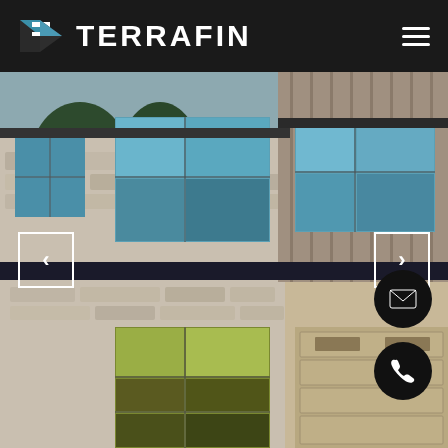[Figure (logo): Terrafin logo: angular F-shape icon in teal/blue and dark, with white text TERRAFIN on dark background header]
[Figure (photo): Photograph of modern residential home exterior showing stone and board-and-batten siding, large windows, and garage door. Slideshow navigation arrows visible on left and right. Email and phone contact FABs on bottom right.]